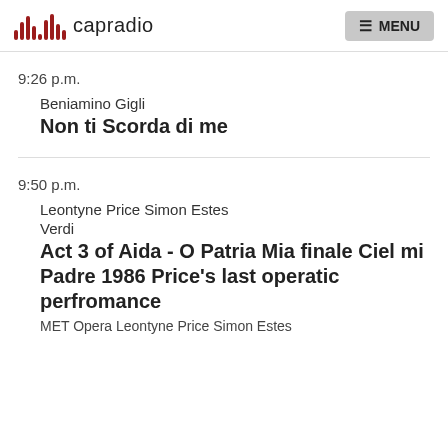capradio  MENU
9:26 p.m.
Beniamino Gigli
Non ti Scorda di me
9:50 p.m.
Leontyne Price Simon Estes
Verdi
Act 3 of Aida - O Patria Mia finale Ciel mi Padre 1986 Price's last operatic perfromance
MET Opera Leontyne Price Simon Estes